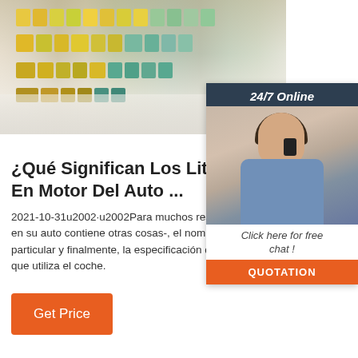[Figure (photo): Supermarket aisle with shelves stocked with products, wide center aisle with bright fluorescent lighting and tiled floor.]
[Figure (infographic): 24/7 Online chat widget with dark blue header, photo of female customer service agent with headset, 'Click here for free chat!' text, and orange QUOTATION button.]
¿Qué Significan Los Litros En Motor Del Auto ...
2021-10-31u2002·u2002Para muchos resulta los emblemas o insignias en su auto contiene otras cosas-, el nombre, marca, si es alguna e particular y finalmente, la especificación de los litros y/o tipo del motor que utiliza el coche.
Get Price